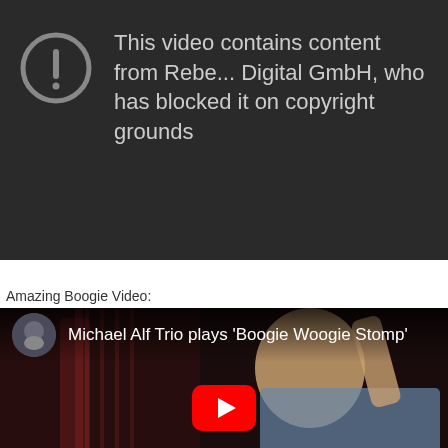[Figure (screenshot): YouTube blocked video notice with warning icon (exclamation mark in circle) and text: 'This video contains content from Rebe... Digital GmbH, who has blocked it on copyright grounds' on dark background]
Amazing Boogie Video:
[Figure (screenshot): YouTube video embed showing Michael Alf Trio plays 'Boogie Woogie Stomp' - thumbnail with musician playing double bass, channel avatar in top left, red YouTube play button at bottom center]